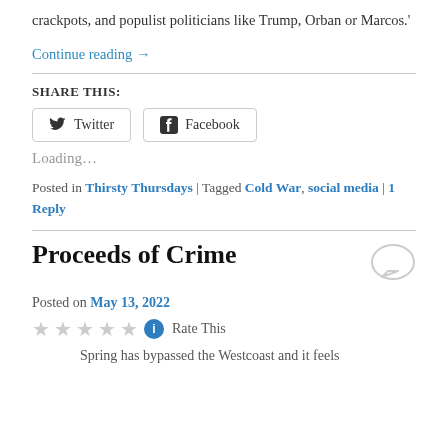crackpots, and populist politicians like Trump, Orban or Marcos.'
Continue reading →
SHARE THIS:
[Figure (other): Twitter and Facebook share buttons]
Loading…
Posted in Thirsty Thursdays | Tagged Cold War, social media | 1 Reply
Proceeds of Crime
Posted on May 13, 2022
Rate This
Spring has bypassed the Westcoast and it feels